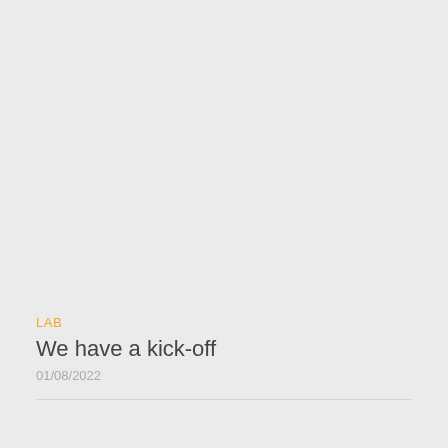LAB
We have a kick-off
01/08/2022